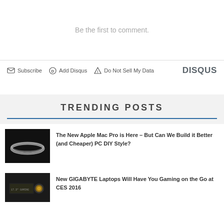Be the first to comment.
Subscribe  Add Disqus  Do Not Sell My Data  DISQUS
TRENDING POSTS
The New Apple Mac Pro is Here – But Can We Build it Better (and Cheaper) PC DIY Style?
New GIGABYTE Laptops Will Have You Gaming on the Go at CES 2016